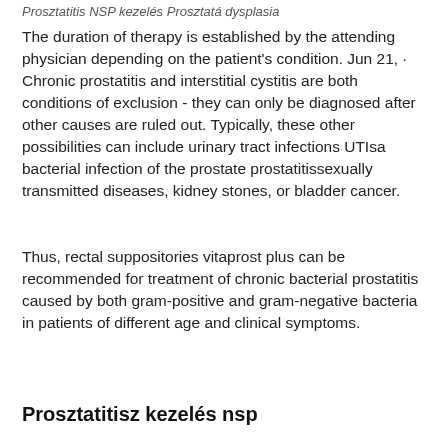Prosztatitis NSP kezelés Prosztatá dysplasia
The duration of therapy is established by the attending physician depending on the patient's condition. Jun 21, · Chronic prostatitis and interstitial cystitis are both conditions of exclusion - they can only be diagnosed after other causes are ruled out. Typically, these other possibilities can include urinary tract infections UTIsa bacterial infection of the prostate prostatitissexually transmitted diseases, kidney stones, or bladder cancer.
Thus, rectal suppositories vitaprost plus can be recommended for treatment of chronic bacterial prostatitis caused by both gram-positive and gram-negative bacteria in patients of different age and clinical symptoms.
Prosztatitisz kezelés nsp